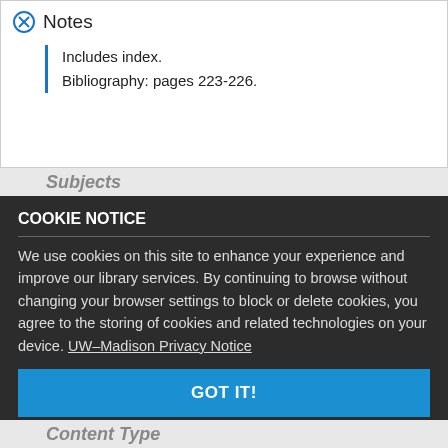Notes
Includes index.
Bibliography: pages 223-226.
Subjects
COOKIE NOTICE
We use cookies on this site to enhance your experience and improve our library services. By continuing to browse without changing your browser settings to block or delete cookies, you agree to the storing of cookies and related technologies on your device. UW–Madison Privacy Notice
GOT IT!
Content Type